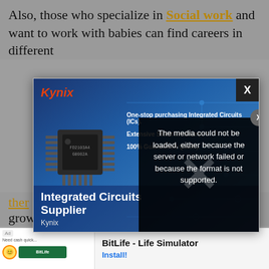Also, those who specialize in Social work and want to work with babies can find careers in different
[Figure (screenshot): Web browser popup showing a Kynix Integrated Circuits advertisement banner with logo, chip image, and text 'One-stop purchasing Integrated Circuits (ICs). Extensive Stock Inventory. 100% Guaranteed Quality.' with 'Integrated Circuits Supplier' and 'Kynix' footer text. An error overlay reads 'The media could not be loaded, either because the server or network failed or because the format is not supported.' with an X close button.]
ther... d grow...
[Figure (screenshot): Bottom ad banner for BitLife - Life Simulator app with Install button]